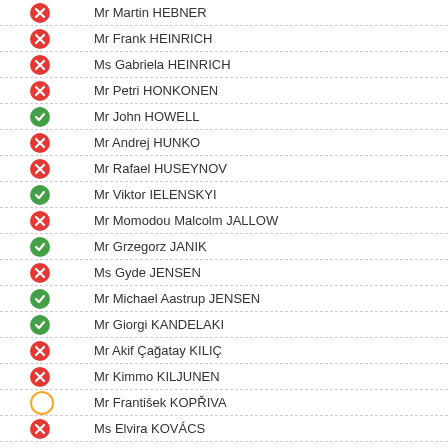Mr Martin HEBNER
Mr Frank HEINRICH
Ms Gabriela HEINRICH
Mr Petri HONKONEN
Mr John HOWELL
Mr Andrej HUNKO
Mr Rafael HUSEYNOV
Mr Viktor IELENSKYI
Mr Momodou Malcolm JALLOW
Mr Grzegorz JANIK
Ms Gyde JENSEN
Mr Michael Aastrup JENSEN
Mr Giorgi KANDELAKI
Mr Akif Çağatay KILIÇ
Mr Kimmo KILJUNEN
Mr František KOPŘIVA
Ms Elvira KOVÁCS